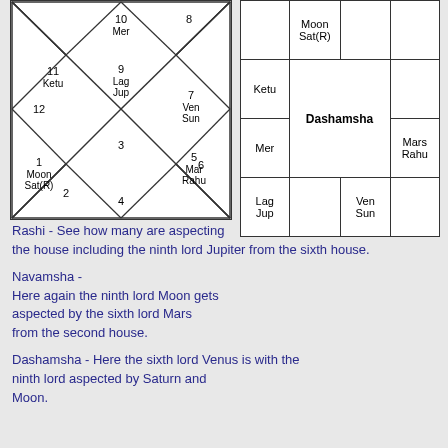[Figure (other): Rashi astrological chart (North Indian style diamond grid) with house numbers 1-12 and planetary placements: 1-Moon/Sat(R), 2, 3, 4, 5-Mar/Rahu, 6, 7-Ven/Sun, 8, 9-Lag/Jup, 10-Mer, 11-Ketu, 12]
[Figure (other): Dashamsha astrological chart (South Indian style 4x4 grid) with planetary placements: Moon/Sat(R) top center, Ketu left, Dashamsha label center, Mars/Rahu right, Mer left, Lag/Jup bottom-left, Ven/Sun bottom-center]
Rashi - See how many are aspecting the house including the ninth lord Jupiter from the sixth house.
Navamsha - Here again the ninth lord Moon gets aspected by the sixth lord Mars from the second house.
Dashamsha - Here the sixth lord Venus is with the ninth lord aspected by Saturn and Moon.